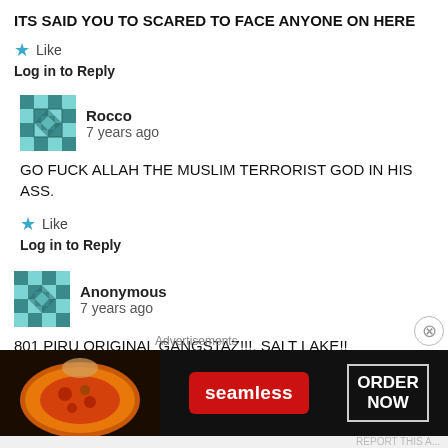ITS SAID YOU TO SCARED TO FACE ANYONE ON HERE
Like
Log in to Reply
Rocco
7 years ago
GO FUCK ALLAH THE MUSLIM TERRORIST GOD IN HIS ASS.
Like
Log in to Reply
Anonymous
7 years ago
801 PIRU ORIGINAL GANGSTAZ!!!, SALT LAKE!! WHOOPIN!!, much love for my BH DAMU'S!!!!..
[Figure (screenshot): Seamless food delivery advertisement banner with pizza image, red Seamless logo button, and ORDER NOW box]
Advertisements